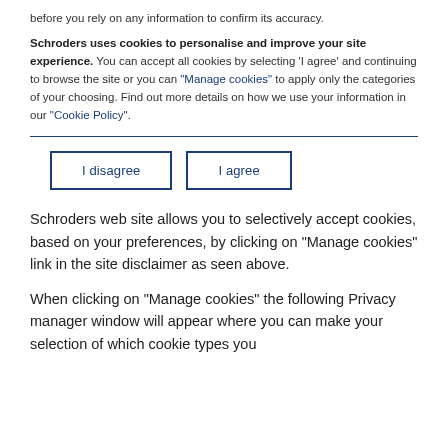before you rely on any information to confirm its accuracy.
Schroders uses cookies to personalise and improve your site experience. You can accept all cookies by selecting 'I agree' and continuing to browse the site or you can "Manage cookies" to apply only the categories of your choosing. Find out more details on how we use your information in our "Cookie Policy".
I disagree
I agree
Schroders web site allows you to selectively accept cookies, based on your preferences, by clicking on "Manage cookies" link in the site disclaimer as seen above.
When clicking on "Manage cookies" the following Privacy manager window will appear where you can make your selection of which cookie types you